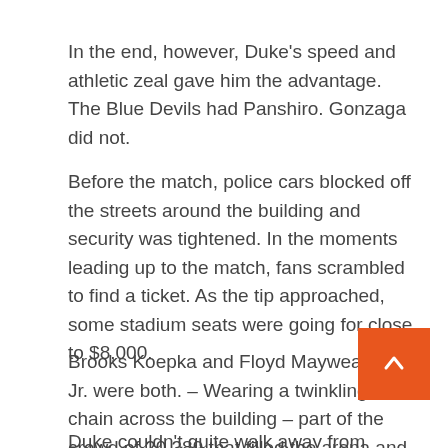In the end, however, Duke's speed and athletic zeal gave him the advantage. The Blue Devils had Panshiro. Gonzaga did not.
Before the match, police cars blocked off the streets around the building and security was tightened. In the moments leading up to the match, fans scrambled to find a ticket. As the tip approached, some stadium seats were going for close to $8,000.
Brooks Koepka and Floyd Mayweather Jr. were both. – Wearing a twinkling chain across the building – part of the crowd of 20,389 that filled the arena and set a record for the largest basketball crowd in Nevada history.
Duke couldn't quite walk away from Gonzaga after a